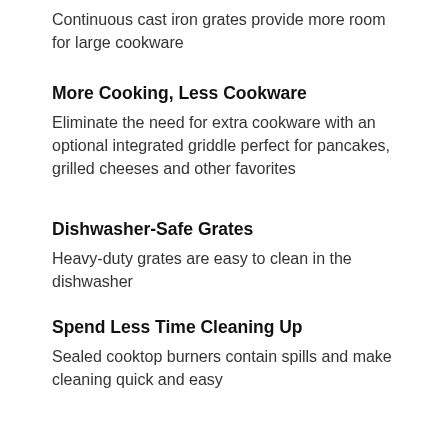Continuous cast iron grates provide more room for large cookware
More Cooking, Less Cookware
Eliminate the need for extra cookware with an optional integrated griddle perfect for pancakes, grilled cheeses and other favorites
Dishwasher-Safe Grates
Heavy-duty grates are easy to clean in the dishwasher
Spend Less Time Cleaning Up
Sealed cooktop burners contain spills and make cleaning quick and easy
Start Cooking Faster with Power Boil
15,000 BTU Power Boil burner delivers intense heat for faster boiling
Precise Simmer Burner
Protect delicate foods with low, even heating
MAX Burner System